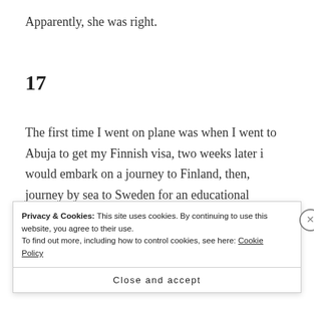Apparently, she was right.
17
The first time I went on plane was when I went to Abuja to get my Finnish visa, two weeks later i would embark on a journey to Finland, then, journey by sea to Sweden for an educational exchange trip as a result of my winning the Spelling Bee. My experience there was surreal
Privacy & Cookies: This site uses cookies. By continuing to use this website, you agree to their use.
To find out more, including how to control cookies, see here: Cookie Policy
Close and accept